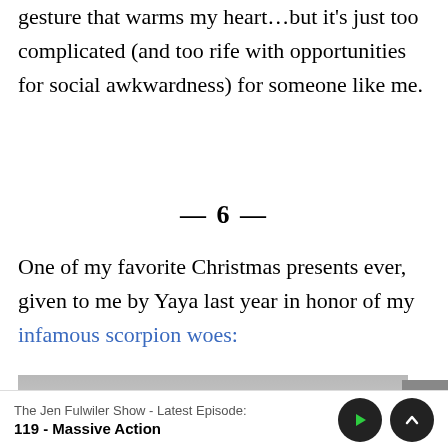gesture that warms my heart…but it's just too complicated (and too rife with opportunities for social awkwardness) for someone like me.
— 6 —
One of my favorite Christmas presents ever, given to me by Yaya last year in honor of my infamous scorpion woes:
[Figure (photo): Partial photo of a red oval/round object (possibly a decorative item or ornament) on a gray background, cropped at bottom of page]
The Jen Fulwiler Show - Latest Episode:
119 - Massive Action